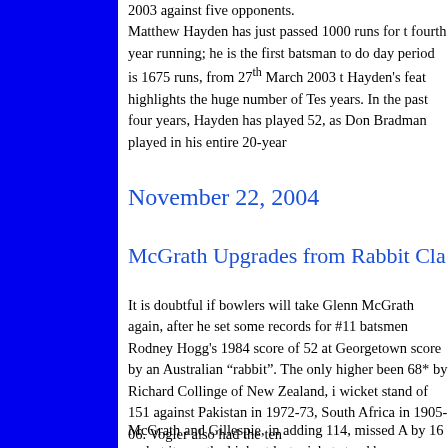2003 against five opponents. Matthew Hayden has just passed 1000 runs for the fourth year running; he is the first batsman to do so. day period is 1675 runs, from 27th March 2003 t Hayden's feat highlights the huge number of Tests in recent years. In the past four years, Hayden has played 52, as Don Bradman played in his entire 20-year career.
November 22, 2004
McGrath Upgrades from Rabbit Cla
It is doubtful if bowlers will take Glenn McGrath lightly again, after he set some records for #11 batsmen. He passed Rodney Hogg's 1984 score of 52 at Georgetown, the highest score by an Australian "rabbit". The only higher score has been 68* by Richard Collinge of New Zealand, in a last wicket stand of 151 against Pakistan in 1972-73, set by South Africa in 1905-06. Vogler also had the ten
McGrath and Gillespie, in adding 114, missed A by 16 — but it was the highest last wicket stand b